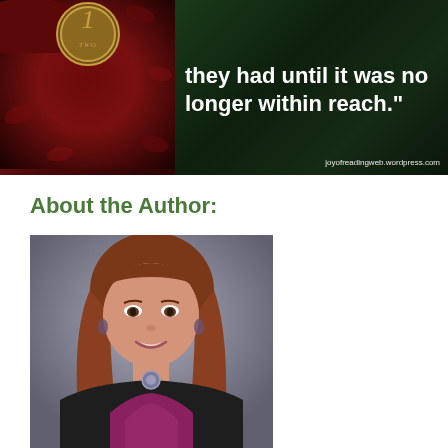[Figure (photo): Book cover banner for Jody Hedlund with a dark red floral background and a quote reading 'they had until it was no longer within reach.' with website joyofreadingweb.wordpress.com]
About the Author:
[Figure (photo): Professional headshot of a woman with auburn/red hair, wearing a black top with a purple/magenta cowl-neck drape and a decorative necklace, smiling, against a grey background]